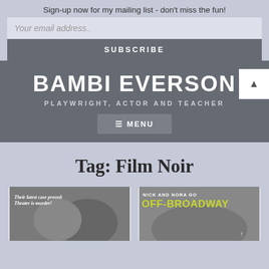Sign-up now for my mailing list - don't miss the fun!
Your email address..
SUBSCRIBE
BAMBI EVERSON
PLAYWRIGHT, ACTOR AND TEACHER
≡ MENU
Tag: Film Noir
[Figure (photo): Movie poster in black and white with text: Their latest case proved: Theater is murder!]
[Figure (photo): Movie poster with text: NICK AND NORA GO OFF-BROADWAY in yellow/green on gray background]